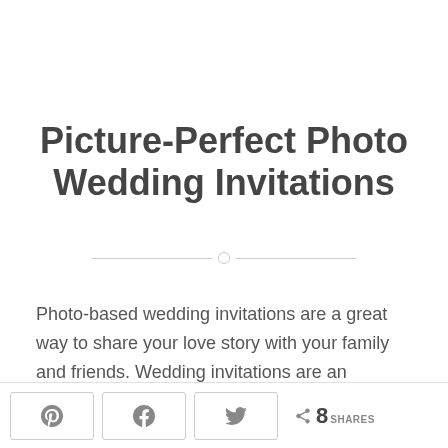Picture-Perfect Photo Wedding Invitations
Photo-based wedding invitations are a great way to share your love story with your family and friends. Wedding invitations are an important part of your wedding, as it represents your personality and it is the
8 SHARES [Pinterest share button] [Facebook share button] [Twitter share button]